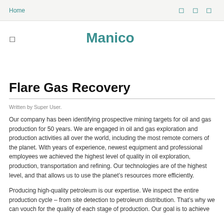Home
Manico
Flare Gas Recovery
Written by Super User.
Our company has been identifying prospective mining targets for oil and gas production for 50 years. We are engaged in oil and gas exploration and production activities all over the world, including the most remote corners of the planet. With years of experience, newest equipment and professional employees we achieved the highest level of quality in oil exploration, production, transportation and refining. Our technologies are of the highest level, and that allows us to use the planet’s resources more efficiently.
Producing high-quality petroleum is our expertise. We inspect the entire production cycle – from site detection to petroleum distribution. That’s why we can vouch for the quality of each stage of production. Our goal is to achieve